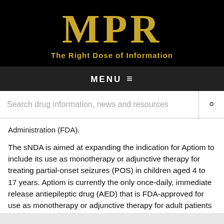[Figure (logo): MPR logo with tagline 'The Right Dose of Information' on black background]
MENU ≡
Search drug information, news and resources
Administration (FDA).
The sNDA is aimed at expanding the indication for Aptiom to include its use as monotherapy or adjunctive therapy for treating partial-onset seizures (POS) in children aged 4 to 17 years. Aptiom is currently the only once-daily, immediate release antiepileptic drug (AED) that is FDA-approved for use as monotherapy or adjunctive therapy for adult patients with POS.